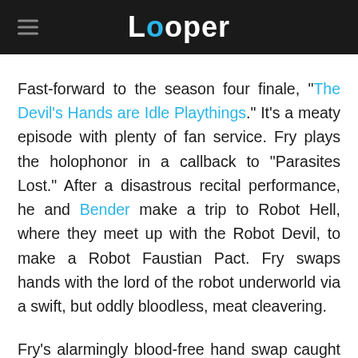Looper
Fast-forward to the season four finale, "The Devil's Hands are Idle Playthings." It's a meaty episode with plenty of fan service. Fry plays the holophonor in a callback to "Parasites Lost." After a disastrous recital performance, he and Bender make a trip to Robot Hell, where they meet up with the Robot Devil, to make a Robot Faustian Pact. Fry swaps hands with the lord of the robot underworld via a swift, but oddly bloodless, meat cleavering.
Fry's alarmingly blood-free hand swap caught at